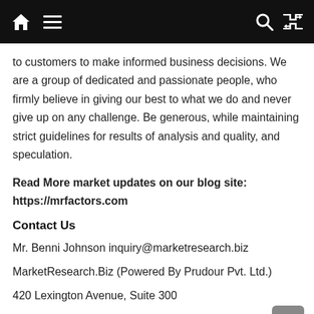Navigation bar with home, menu, search, and shuffle icons
to customers to make informed business decisions. We are a group of dedicated and passionate people, who firmly believe in giving our best to what we do and never give up on any challenge. Be generous, while maintaining strict guidelines for results of analysis and quality, and speculation.
Read More market updates on our blog site: https://mrfactors.com
Contact Us
Mr. Benni Johnson inquiry@marketresearch.biz
MarketResearch.Biz (Powered By Prudour Pvt. Ltd.)
420 Lexington Avenue, Suite 300
New York City, NY 10170